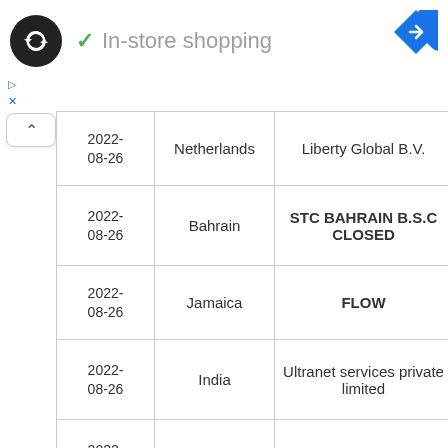[Figure (logo): Black circle logo with double arrow/loop symbol]
✓ In-store shopping
[Figure (logo): Blue navigation diamond arrow icon]
▷
X
| Date | Country | Organization | Num |  |
| --- | --- | --- | --- | --- |
| 2022-08-26 | Netherlands | Liberty Global B.V. | 180 |  |
| 2022-08-26 | Bahrain | STC BAHRAIN B.S.C CLOSED | 292 |  |
| 2022-08-26 | Jamaica | FLOW | 128 |  |
| 2022-08-26 | India | Ultranet services private limited | 547 |  |
| 2022-08-26 | Italy | Vodafone Italia S.p.A. | 229 |  |